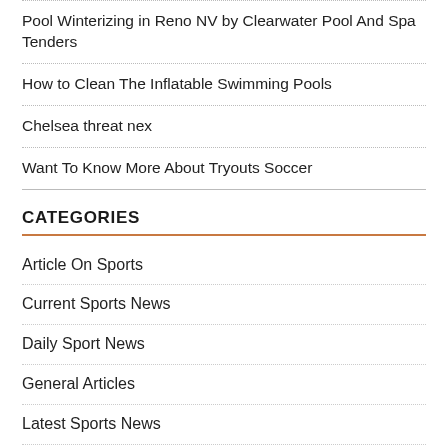Pool Winterizing in Reno NV by Clearwater Pool And Spa Tenders
How to Clean The Inflatable Swimming Pools
Chelsea threat nex
Want To Know More About Tryouts Soccer
CATEGORIES
Article On Sports
Current Sports News
Daily Sport News
General Articles
Latest Sports News
News About Sport
News Sports